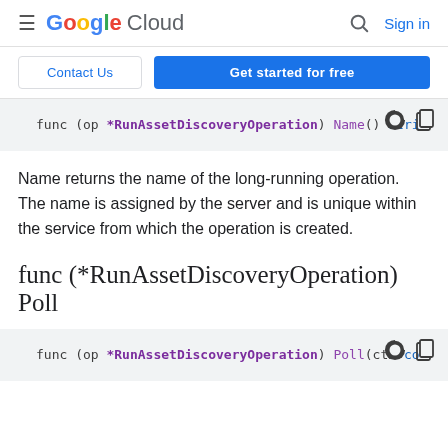Google Cloud  Sign in
Contact Us  Get started for free
func (op *RunAssetDiscoveryOperation) Name() stri
Name returns the name of the long-running operation. The name is assigned by the server and is unique within the service from which the operation is created.
func (*RunAssetDiscoveryOperation) Poll
func (op *RunAssetDiscoveryOperation) Poll(ctx co